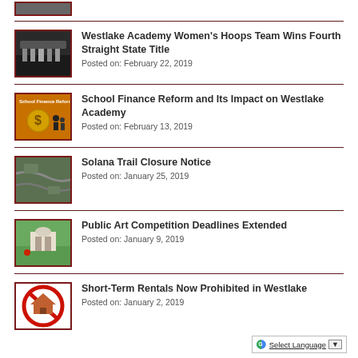Westlake Academy Women's Hoops Team Wins Fourth Straight State Title
Posted on: February 22, 2019
School Finance Reform and Its Impact on Westlake Academy
Posted on: February 13, 2019
Solana Trail Closure Notice
Posted on: January 25, 2019
Public Art Competition Deadlines Extended
Posted on: January 9, 2019
Short-Term Rentals Now Prohibited in Westlake
Posted on: January 2, 2019